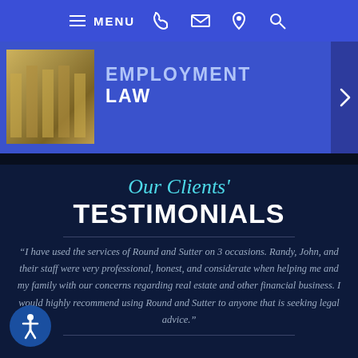MENU [navigation icons: phone, email, location, search]
[Figure (screenshot): Law firm banner showing a building image with text 'EMPLOYMENT LAW' and a right-arrow navigation control on blue background]
Our Clients' TESTIMONIALS
“I have used the services of Round and Sutter on 3 occasions. Randy, John, and their staff were very professional, honest, and considerate when helping me and my family with our concerns regarding real estate and other financial business. I would highly recommend using Round and Sutter to anyone that is seeking legal advice.”